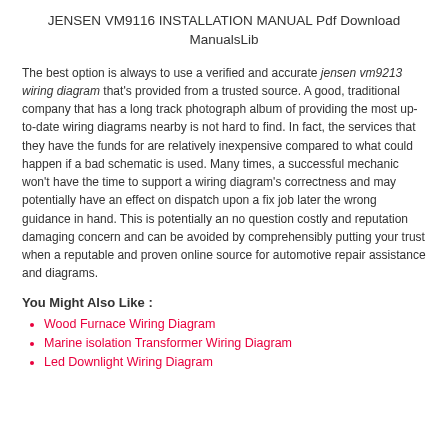JENSEN VM9116 INSTALLATION MANUAL Pdf Download
ManualsLib
The best option is always to use a verified and accurate jensen vm9213 wiring diagram that's provided from a trusted source. A good, traditional company that has a long track photograph album of providing the most up-to-date wiring diagrams nearby is not hard to find. In fact, the services that they have the funds for are relatively inexpensive compared to what could happen if a bad schematic is used. Many times, a successful mechanic won't have the time to support a wiring diagram's correctness and may potentially have an effect on dispatch upon a fix job later the wrong guidance in hand. This is potentially an no question costly and reputation damaging concern and can be avoided by comprehensibly putting your trust when a reputable and proven online source for automotive repair assistance and diagrams.
You Might Also Like :
Wood Furnace Wiring Diagram
Marine isolation Transformer Wiring Diagram
Led Downlight Wiring Diagram